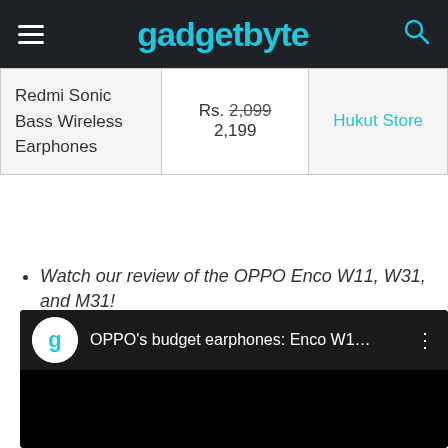gadgetbyte
| Redmi Sonic Bass Wireless Earphones | Rs. 2,099 2,199 | Hukut Store |
Watch our review of the OPPO Enco W11, W31, and M31!
[Figure (screenshot): Embedded YouTube video thumbnail showing OPPO's budget earphones: Enco W1... with gadgetbyte channel logo]